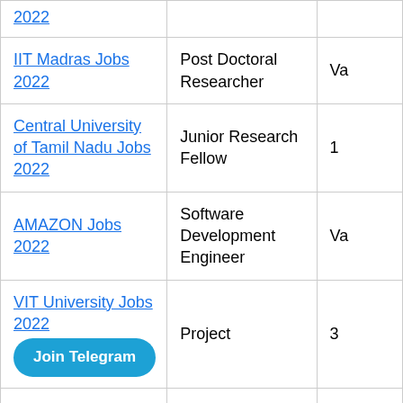| 2022 |  |  |
| IIT Madras Jobs 2022 | Post Doctoral Researcher | Va |
| Central University of Tamil Nadu Jobs 2022 | Junior Research Fellow | 1 |
| AMAZON Jobs 2022 | Software Development Engineer | Va |
| VIT University Jobs 2022 | Project | 3 |
| Madras High Court Jobs 2022 | President | 30 |